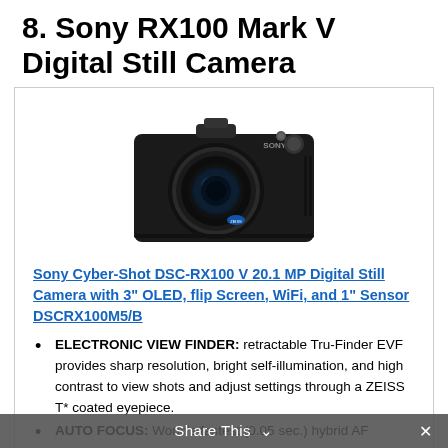8. Sony RX100 Mark V Digital Still Camera
[Figure (photo): Sony RX100 Mark V compact digital camera, black body, large lens, seen from front-left angle]
Sony Cyber-Shot DSC-RX100 V 20.1 MP Digital Still Camera with 3" OLED, flip Screen, WiFi, and 1" Sensor DSCRX100M5/B
ELECTRONIC VIEW FINDER: retractable Tru-Finder EVF provides sharp resolution, bright self-illumination, and high contrast to view shots and adjust settings through a ZEISS T* coated eyepiece.
AUTO FOCUS: World's fastest (0.05 sec.) hybrid AF